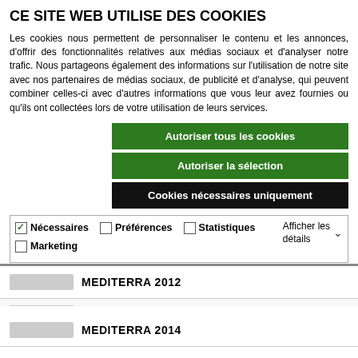CE SITE WEB UTILISE DES COOKIES
Les cookies nous permettent de personnaliser le contenu et les annonces, d'offrir des fonctionnalités relatives aux médias sociaux et d'analyser notre trafic. Nous partageons également des informations sur l'utilisation de notre site avec nos partenaires de médias sociaux, de publicité et d'analyse, qui peuvent combiner celles-ci avec d'autres informations que vous leur avez fournies ou qu'ils ont collectées lors de votre utilisation de leurs services.
[Figure (screenshot): Three cookie consent buttons: green 'Autoriser tous les cookies', green 'Autoriser la sélection', dark 'Cookies nécessaires uniquement']
[Figure (screenshot): Cookie options checkboxes: checked Nécessaires, unchecked Préférences, unchecked Statistiques, unchecked Marketing, with 'Afficher les détails' dropdown]
MEDITERRA 2012
MEDITERRA 2014